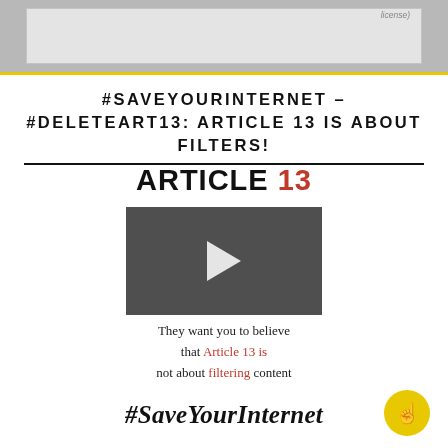[Figure (screenshot): Top gray banner area with lighter inner box and partial text 'license' visible in top right, yellow bottom border]
#SAVEYOURINTERNET – #DELETEART13: ARTICLE 13 IS ABOUT FILTERS!
[Figure (screenshot): Article 13 campaign graphic showing 'ARTICLE 13' logo in black and red, a video thumbnail with play button, text saying 'They want you to believe that Article 13 is not about filtering content' with Article 13 in red, and #SaveYourInternet hashtag in italic serif font at the bottom. A yellow circular button with hand/pointer icon in bottom right corner.]